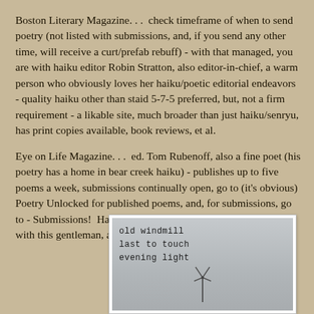Boston Literary Magazine. . .  check timeframe of when to send poetry (not listed with submissions, and, if you send any other time, will receive a curt/prefab rebuff) - with that managed, you are with haiku editor Robin Stratton, also editor-in-chief, a warm person who obviously loves her haiku/poetic editorial endeavors - quality haiku other than staid 5-7-5 preferred, but, not a firm requirement - a likable site, much broader than just haiku/senryu, has print copies available, book reviews, et al.
Eye on Life Magazine. . .  ed. Tom Rubenoff, also a fine poet (his poetry has a home in bear creek haiku) - publishes up to five poems a week, submissions continually open, go to (it's obvious) Poetry Unlocked for published poems, and, for submissions, go to - Submissions!  Have had quality online/poetic interactions with this gentleman, also
[Figure (photo): A polaroid-style photo with a grey sky background showing a windmill silhouette at the bottom. Handwritten haiku text in the upper left reads: 'old windmill / last to touch / evening light']